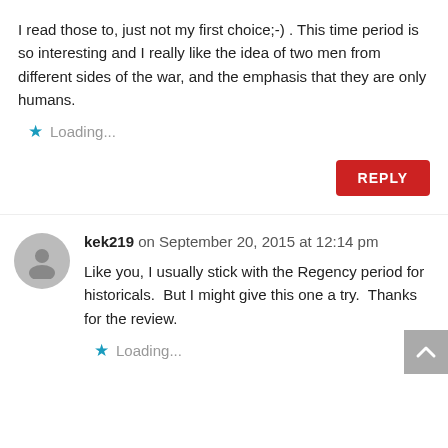I read those to, just not my first choice;-) . This time period is so interesting and I really like the idea of two men from different sides of the war, and the emphasis that they are only humans.
Loading...
REPLY
kek219 on September 20, 2015 at 12:14 pm
Like you, I usually stick with the Regency period for historicals.  But I might give this one a try.  Thanks for the review.
Loading...
We use cookies to ensure that we give you the best experience on our website. If you click ok and continue to use our site that indicates your acceptance of the cookies.
Ok   Read more